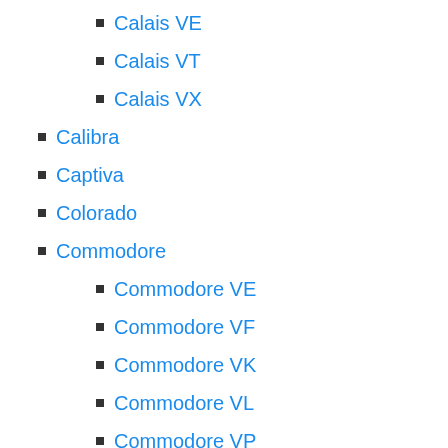Calais VE
Calais VT
Calais VX
Calibra
Captiva
Colorado
Commodore
Commodore VE
Commodore VF
Commodore VK
Commodore VL
Commodore VP
Commodore VR
Commodore VT
Commodore VU
Commodore VX
Corsa
Corsa A
Corsa B